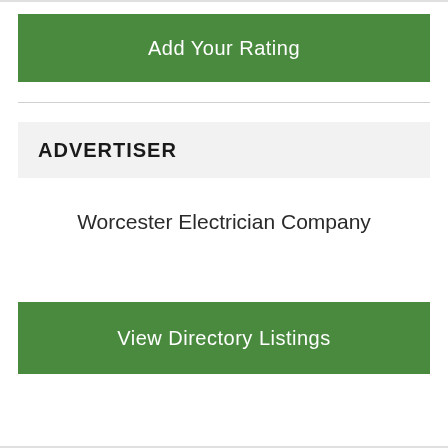Add Your Rating
ADVERTISER
Worcester Electrician Company
View Directory Listings